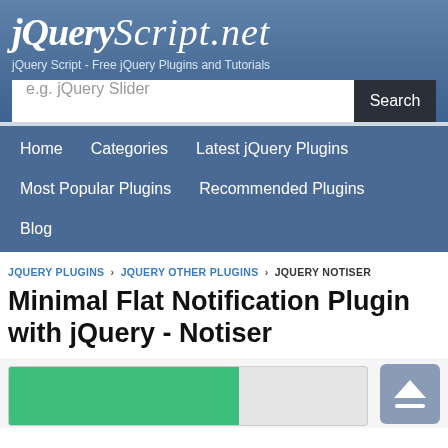jQuery Script.net
jQuery Script - Free jQuery Plugins and Tutorials
e.g. jQuery Slider  Search
Home  Categories  Latest jQuery Plugins  Most Popular Plugins  Recommended Plugins  Blog
JQUERY PLUGINS › JQUERY OTHER PLUGINS › JQUERY NOTISER
Minimal Flat Notification Plugin with jQuery - Notiser
[Figure (screenshot): Green bar preview element at bottom of the page]